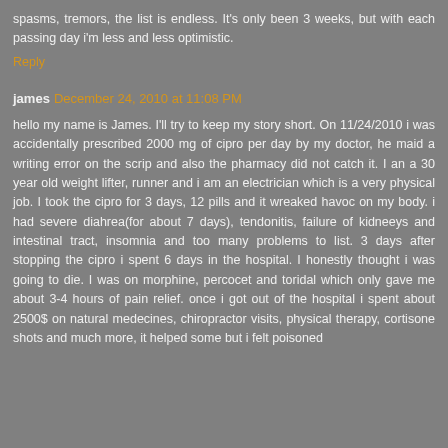spasms, tremors, the list is endless. It's only been 3 weeks, but with each passing day i'm less and less optimistic.
Reply
james December 24, 2010 at 11:08 PM
hello my name is James. I'll try to keep my story short. On 11/24/2010 i was accidentally prescribed 2000 mg of cipro per day by my doctor, he maid a writing error on the scrip and also the pharmacy did not catch it. I an a 30 year old weight lifter, runner and i am an electrician which is a very physical job. I took the cipro for 3 days, 12 pills and it wreaked havoc on my body. i had severe diahrea(for about 7 days), tendonitis, failure of kidneeys and intestinal tract, insomnia and too many problems to list. 3 days after stopping the cipro i spent 6 days in the hospital. I honestly thought i was going to die. I was on morphine, percocet and toridal which only gave me about 3-4 hours of pain relief. once i got out of the hospital i spent about 2500$ on natural medecines, chiropractor visits, physical therapy, cortisone shots and much more, it helped some but i felt poisoned and the pain is straight to the gut, it is very painful.